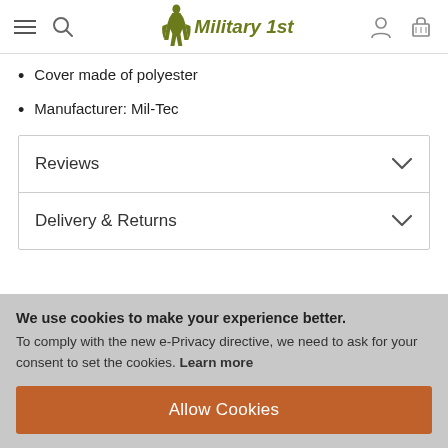Military 1st — site header with navigation icons
Cover made of polyester
Manufacturer: Mil-Tec
Reviews
Delivery & Returns
We use cookies to make your experience better. To comply with the new e-Privacy directive, we need to ask for your consent to set the cookies. Learn more
Allow Cookies